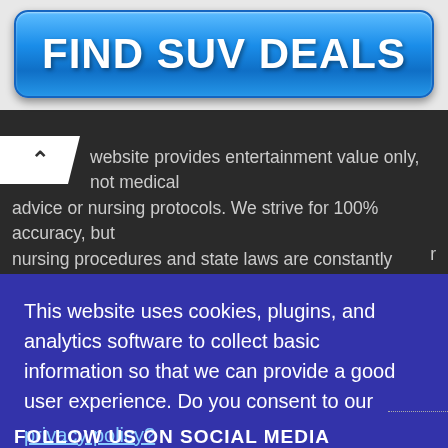[Figure (other): Blue gradient button with white bold text reading FIND SUV DEALS]
website provides entertainment value only, not medical advice or nursing protocols. We strive for 100% accuracy, but nursing procedures and state laws are constantly changing. By accessing any content on this site or its related media channels,
This website uses cookies, plugins, and analytics software to collect basic information so that we can provide a good user experience. Do you consent to our privacy policy?
I Consent!
FOLLOW US ON SOCIAL MEDIA